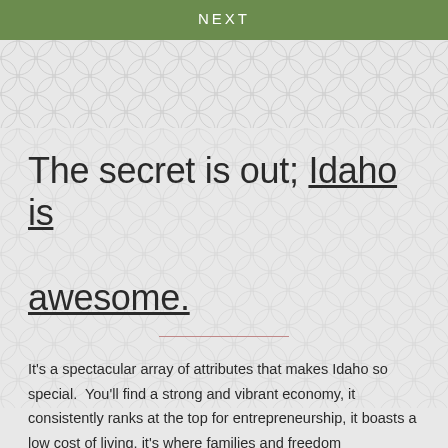NEXT
The secret is out; Idaho is awesome.
It's a spectacular array of attributes that makes Idaho so special.  You'll find a strong and vibrant economy, it consistently ranks at the top for entrepreneurship, it boasts a low cost of living, it's where families and freedom